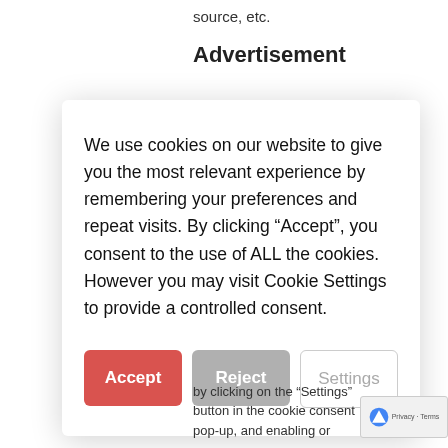source, etc.
Advertisement
We use cookies on our website to give you the most relevant experience by remembering your preferences and repeat visits. By clicking “Accept”, you consent to the use of ALL the cookies. However you may visit Cookie Settings to provide a controlled consent.
Accept
Reject
Settings
by clicking on the “Settings” button in the cookie consent pop-up, and enabling or